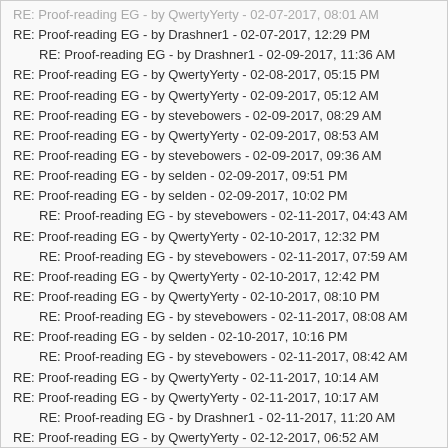RE: Proof-reading EG - by QwertyYerty - 02-07-2017, 08:01 AM
RE: Proof-reading EG - by Drashner1 - 02-07-2017, 12:29 PM
RE: Proof-reading EG - by Drashner1 - 02-09-2017, 11:36 AM
RE: Proof-reading EG - by QwertyYerty - 02-08-2017, 05:15 PM
RE: Proof-reading EG - by QwertyYerty - 02-09-2017, 05:12 AM
RE: Proof-reading EG - by stevebowers - 02-09-2017, 08:29 AM
RE: Proof-reading EG - by QwertyYerty - 02-09-2017, 08:53 AM
RE: Proof-reading EG - by stevebowers - 02-09-2017, 09:36 AM
RE: Proof-reading EG - by selden - 02-09-2017, 09:51 PM
RE: Proof-reading EG - by selden - 02-09-2017, 10:02 PM
RE: Proof-reading EG - by stevebowers - 02-11-2017, 04:43 AM
RE: Proof-reading EG - by QwertyYerty - 02-10-2017, 12:32 PM
RE: Proof-reading EG - by stevebowers - 02-11-2017, 07:59 AM
RE: Proof-reading EG - by QwertyYerty - 02-10-2017, 12:42 PM
RE: Proof-reading EG - by QwertyYerty - 02-10-2017, 08:10 PM
RE: Proof-reading EG - by stevebowers - 02-11-2017, 08:08 AM
RE: Proof-reading EG - by selden - 02-10-2017, 10:16 PM
RE: Proof-reading EG - by stevebowers - 02-11-2017, 08:42 AM
RE: Proof-reading EG - by QwertyYerty - 02-11-2017, 10:14 AM
RE: Proof-reading EG - by QwertyYerty - 02-11-2017, 10:17 AM
RE: Proof-reading EG - by Drashner1 - 02-11-2017, 11:20 AM
RE: Proof-reading EG - by QwertyYerty - 02-12-2017, 06:52 AM
RE: Proof-reading EG - by stevebowers - 02-14-2017, 06:53 AM
RE: Proof-reading EG - by QwertyYerty - 02-14-2017, 09:00 AM
RE: Proof-reading EG - by Drashner1 - 02-14-2017, 09:46 AM